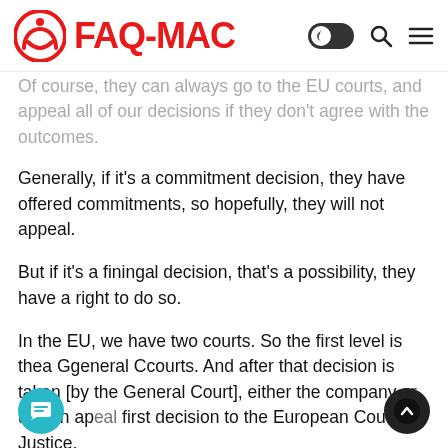FAQ-MAC
Of course, they can always go to the EU courts, and appeal all of our decisions if they don't agree with the outcomes.
Generally, if it's a commitment decision, they have offered commitments, so hopefully, they will not appeal.
But if it's a finingal decision, that's a possibility, they have a right to do so.
In the EU, we have two courts. So the first level is thea Ggeneral Ccourts. And after that decision is taken [by the General Court], either the company or us can appeal first decision to the European Court of Justice.